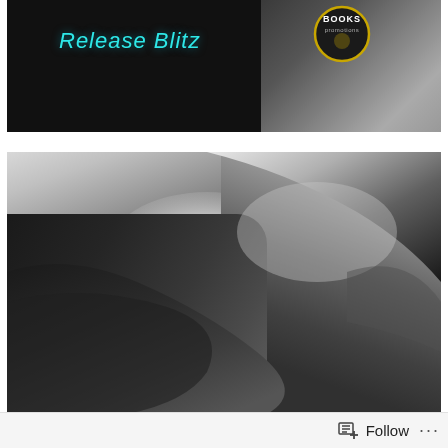[Figure (photo): Release Blitz promotional banner with Books Promotions badge logo and shirtless male model, black background with teal script text reading 'Release Blitz']
[Figure (photo): Black and white artistic close-up photograph of a shirtless male model with dark fabric draped around him, intimate pose showing neck and torso]
[Figure (screenshot): Bottom browser/app bar with Follow button with list icon and three-dot menu on white background]